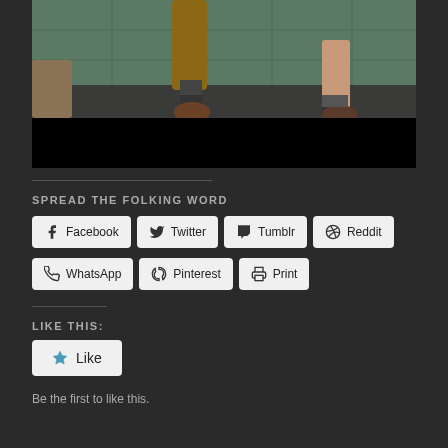[Figure (photo): Bottom portion of a photo showing people's feet and legs in a tiled bathroom/shower area. Below the photo is a black bar.]
SPREAD THE FOLKING WORD
Facebook  Twitter  Tumblr  Reddit  WhatsApp  Pinterest  Print
LIKE THIS:
Like
Be the first to like this.